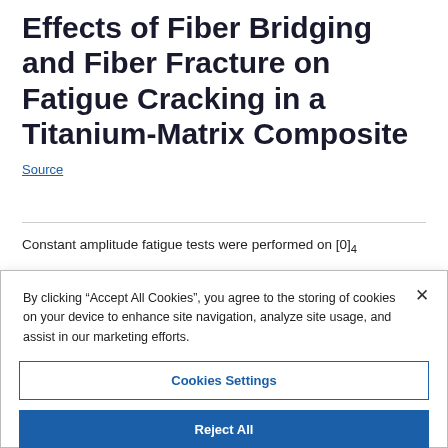Effects of Fiber Bridging and Fiber Fracture on Fatigue Cracking in a Titanium-Matrix Composite
Source
Constant amplitude fatigue tests were performed on [0]4
By clicking "Accept All Cookies", you agree to the storing of cookies on your device to enhance site navigation, analyze site usage, and assist in our marketing efforts.
Cookies Settings
Reject All